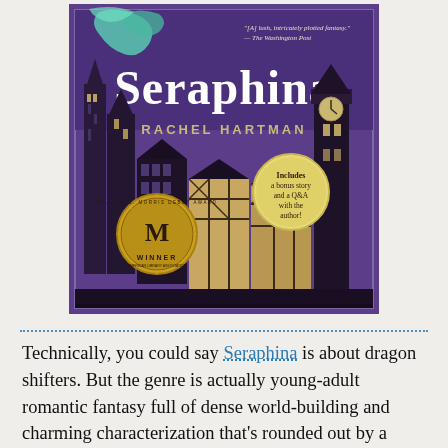[Figure (illustration): Book cover of 'Seraphina' by Rachel Hartman. Purple background with illustrated medieval city skyline featuring gothic towers and half-timbered buildings. Large decorative title 'Seraphina' at top with author name 'RACHEL HARTMAN' below. A teal/green dragon curls around top. Bottom left has a William C. Morris Debut Award winner medallion. Bottom right has a gold circular badge reading 'Includes a bonus story and a Q&A with the author!'. Top right has a quote: '[A] lush, intricately plotted fantasy.' —The Washington Post.]
Technically, you could say Seraphina is about dragon shifters. But the genre is actually young-adult romantic fantasy full of dense world-building and charming characterization that's rounded out by a